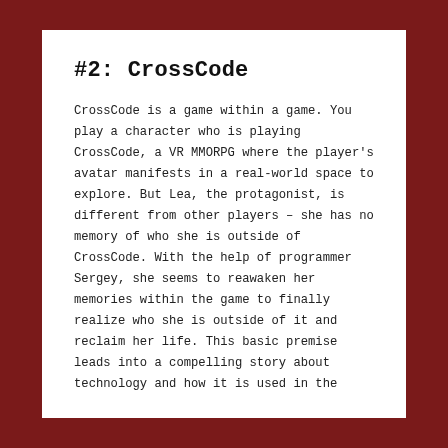#2: CrossCode
CrossCode is a game within a game. You play a character who is playing CrossCode, a VR MMORPG where the player’s avatar manifests in a real-world space to explore. But Lea, the protagonist, is different from other players – she has no memory of who she is outside of CrossCode. With the help of programmer Sergey, she seems to reawaken her memories within the game to finally realize who she is outside of it and reclaim her life. This basic premise leads into a compelling story about technology and how it is used in the